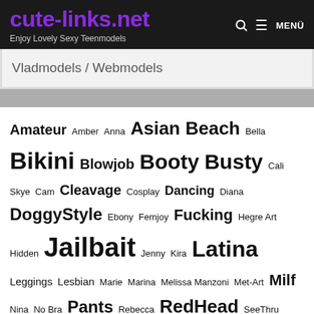cute-links.net — Enjoy Lovely Sexy Teenmodels
Vladmodels / Webmodels
Amateur Amber Anna Asian Beach Bella Bikini Blowjob Booty Busty Cali Skye Cam Cleavage Cosplay Dancing Diana DoggyStyle Ebony Femjoy Fucking Hegre Art Hidden Jailbait Jenny Kira Latina Leggings Lesbian Marie Marina Melissa Manzoni Met-Art Milf Nina No Bra Pants Rebecca RedHead SeeThru Shorts Silver Angels